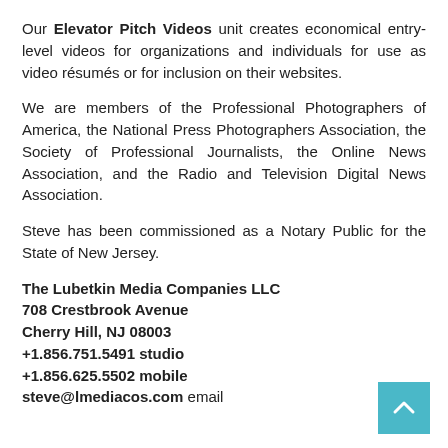Our Elevator Pitch Videos unit creates economical entry-level videos for organizations and individuals for use as video résumés or for inclusion on their websites.
We are members of the Professional Photographers of America, the National Press Photographers Association, the Society of Professional Journalists, the Online News Association, and the Radio and Television Digital News Association.
Steve has been commissioned as a Notary Public for the State of New Jersey.
The Lubetkin Media Companies LLC
708 Crestbrook Avenue
Cherry Hill, NJ 08003
+1.856.751.5491 studio
+1.856.625.5502 mobile
steve@lmediacos.com email